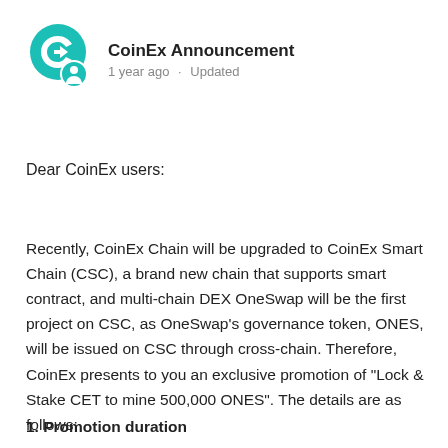[Figure (logo): CoinEx logo: teal circular icon with stylized C and a person/user badge overlay]
CoinEx Announcement
1 year ago · Updated
Dear CoinEx users:
Recently, CoinEx Chain will be upgraded to CoinEx Smart Chain (CSC), a brand new chain that supports smart contract, and multi-chain DEX OneSwap will be the first project on CSC, as OneSwap’s governance token, ONES, will be issued on CSC through cross-chain. Therefore, CoinEx presents to you an exclusive promotion of “Lock & Stake CET to mine 500,000 ONES”. The details are as follows:
1. Promotion duration